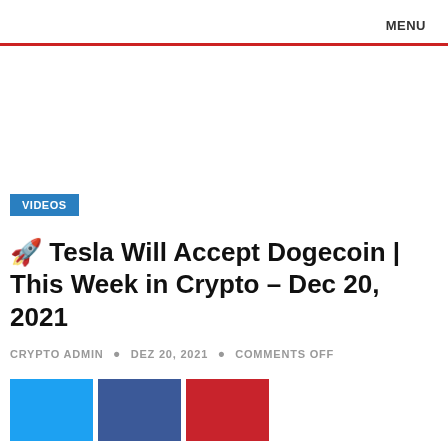MENU
[Figure (other): White ad/banner area placeholder]
VIDEOS
🚀 Tesla Will Accept Dogecoin | This Week in Crypto – Dec 20, 2021
CRYPTO ADMIN • DEZ 20, 2021 • COMMENTS OFF
[Figure (other): Social share buttons: Twitter (blue), Facebook (dark blue), Pinterest (red)]